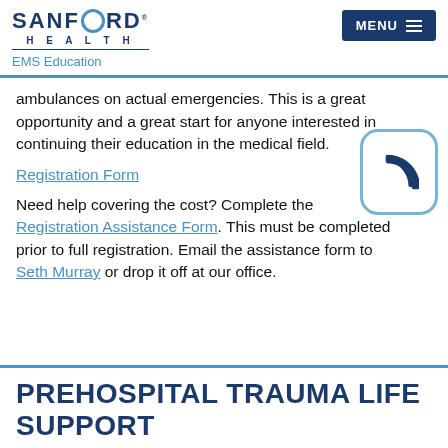SANFORD HEALTH — EMS Education | MENU
ambulances on actual emergencies. This is a great opportunity and a great start for anyone interested in continuing their education in the medical field.
Registration Form
Need help covering the cost? Complete the Registration Assistance Form. This must be completed prior to full registration. Email the assistance form to Seth Murray or drop it off at our office.
[Figure (illustration): Phone icon inside a rounded rectangle border]
PREHOSPITAL TRAUMA LIFE SUPPORT